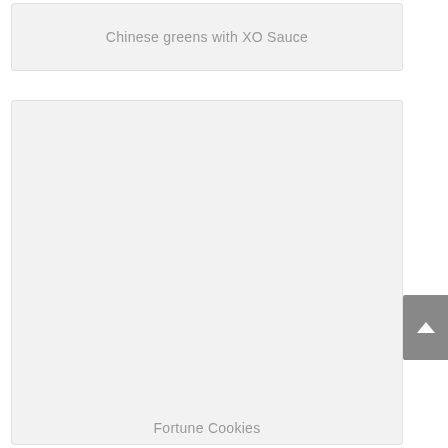Chinese greens with XO Sauce
[Figure (photo): Large placeholder image card for a food photograph, currently showing a light grey background with no image loaded]
Fortune Cookies